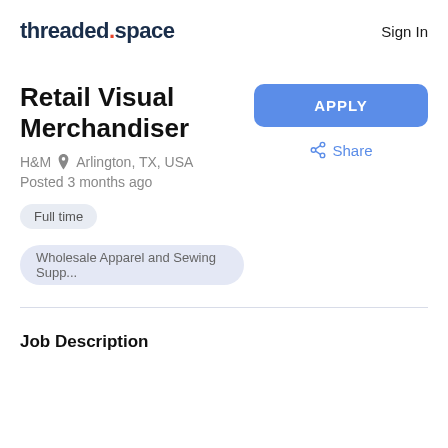threaded.space  Sign In
Retail Visual Merchandiser
H&M  Arlington, TX, USA
Posted 3 months ago
Full time
Wholesale Apparel and Sewing Supp...
Job Description